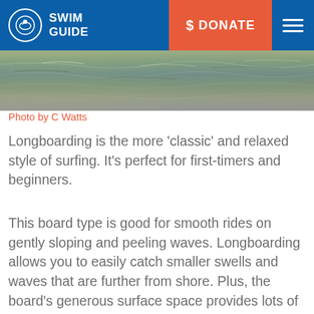SWIM GUIDE | $ DONATE
[Figure (photo): Close-up photograph of water surface with green and grey tones, showing ripples and waves.]
Photo by C Watts
Longboarding is the more 'classic' and relaxed style of surfing. It's perfect for first-timers and beginners.
This board type is good for smooth rides on gently sloping and peeling waves. Longboarding allows you to easily catch smaller swells and waves that are further from shore. Plus, the board's generous surface space provides lots of options for tricks and